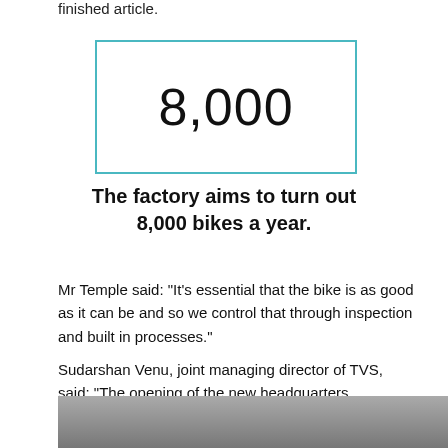finished article.
[Figure (other): Teal-bordered box displaying the number 8,000]
The factory aims to turn out 8,000 bikes a year.
Mr Temple said: "It's essential that the bike is as good as it can be and so we control that through inspection and built in processes."
Sudarshan Venu, joint managing director of TVS, said: "The opening of the new headquarters represents a significant step forward for Norton Motorcycles and is a proud moment for everyone."
[Figure (photo): Partial photo strip at the bottom of the page showing factory/event scene]